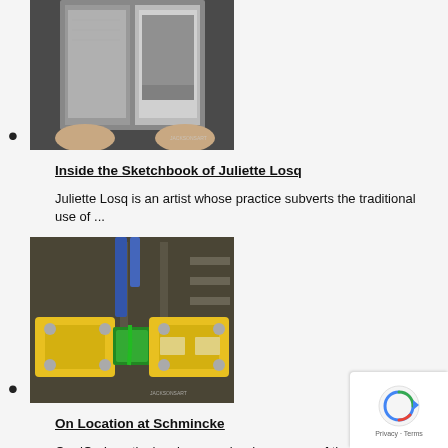[Figure (photo): Person holding open a large book with black and white photography/artwork pages]
Inside the Sketchbook of Juliette Losq
Juliette Losq is an artist whose practice subverts the traditional use of ...
[Figure (photo): Industrial factory machinery with yellow rollers and green paint/material, in a manufacturing facility]
On Location at Schmincke
Our 'On Location' series reveals where some of the best...